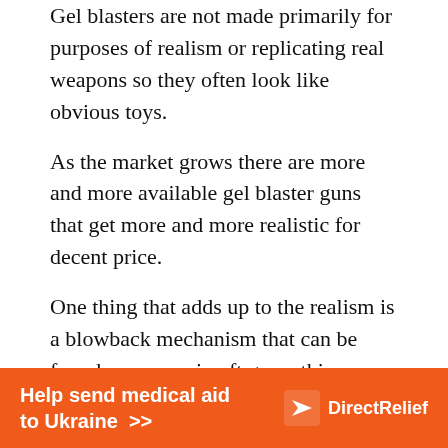Gel blasters are not made primarily for purposes of realism or replicating real weapons so they often look like obvious toys.
As the market grows there are more and more available gel blaster guns that get more and more realistic for decent price.
One thing that adds up to the realism is a blowback mechanism that can be found on some airsoft guns, this unfortunately is not included on most of the gel blaster guns.
The conclusion is that airsoft guns offer far more replicas of real guns and are often created with such
[Figure (other): Orange advertisement banner for Direct Relief charity: 'Help send medical aid to Ukraine >>' with Direct Relief logo]